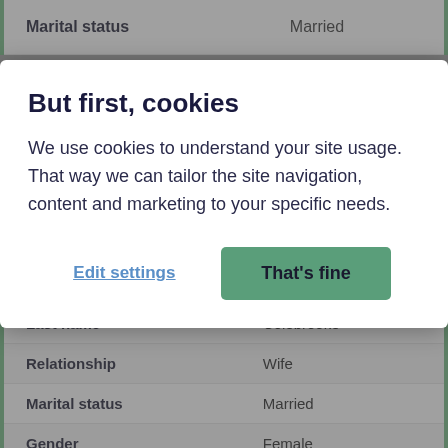| Field | Value |
| --- | --- |
| Marital status | Married |
But first, cookies
We use cookies to understand your site usage. That way we can tailor the site navigation, content and marketing to your specific needs.
Edit settings | That's fine
| Field | Value |
| --- | --- |
| Last name | Colebrooke |
| Relationship | Wife |
| Marital status | Married |
| Gender | Female |
| Age | 37 |